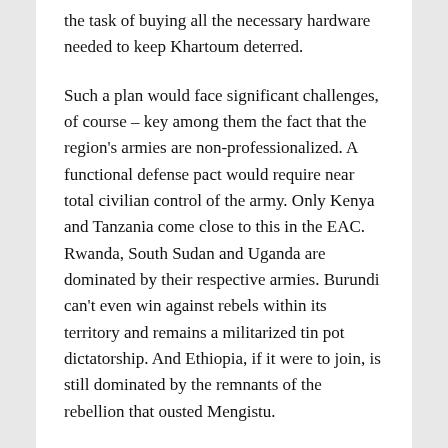the task of buying all the necessary hardware needed to keep Khartoum deterred.
Such a plan would face significant challenges, of course – key among them the fact that the region's armies are non-professionalized. A functional defense pact would require near total civilian control of the army. Only Kenya and Tanzania come close to this in the EAC. Rwanda, South Sudan and Uganda are dominated by their respective armies. Burundi can't even win against rebels within its territory and remains a militarized tin pot dictatorship. And Ethiopia, if it were to join, is still dominated by the remnants of the rebellion that ousted Mengistu.
These challenges aside, it might be worth a try. Such a pact might even help professionalize and de-politicize the officer corp in the region's armed forces.
And the biggest winner if this were to happen is